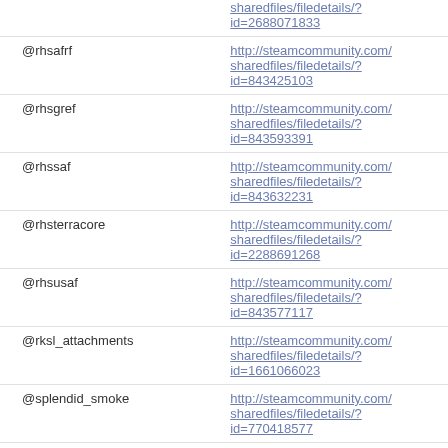| Handle | URL |
| --- | --- |
|  | sharedfiles/filedetails/?id=2688071833 |
| @rhsafrf | http://steamcommunity.com/sharedfiles/filedetails/?id=843425103 |
| @rhsgref | http://steamcommunity.com/sharedfiles/filedetails/?id=843593391 |
| @rhssaf | http://steamcommunity.com/sharedfiles/filedetails/?id=843632231 |
| @rhsterracore | http://steamcommunity.com/sharedfiles/filedetails/?id=2288691268 |
| @rhsusaf | http://steamcommunity.com/sharedfiles/filedetails/?id=843577117 |
| @rksl_attachments | http://steamcommunity.com/sharedfiles/filedetails/?id=1661066023 |
| @splendid_smoke | http://steamcommunity.com/sharedfiles/filedetails/?id=770418577 |
| @sweet_marker_system | http://steamcommunity.com/ |